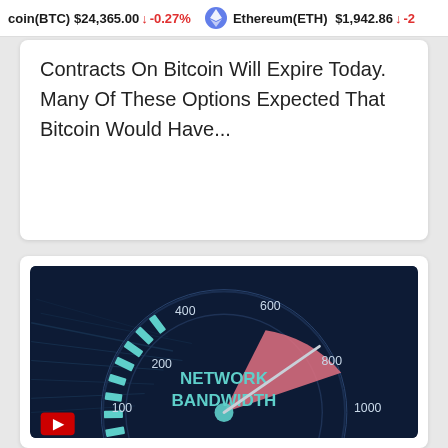Bitcoin(BTC) $24,365.00 ↓ -0.27%   Ethereum(ETH) $1,942.86 ↓ -2...
Contracts On Bitcoin Will Expire Today. Many Of These Options Expected That Bitcoin Would Have...
[Figure (infographic): A speedometer/gauge graphic labeled 'NETWORK BANDWIDTH' with tick marks at 100, 200, 400, 600, 800, 1000. The needle points toward 800-1000, with a pink/red filled area between ~750 and 1000. The background is dark navy with light streaks suggesting speed/data. Tick marks are in teal/cyan.]